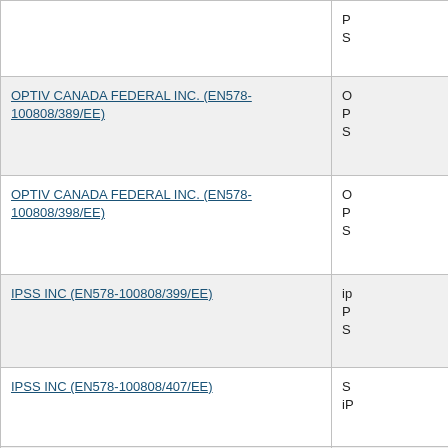| Supplier / Contract | Details |
| --- | --- |
| [truncated top row] | P
S |
| OPTIV CANADA FEDERAL INC. (EN578-100808/389/EE) | O
P
S |
| OPTIV CANADA FEDERAL INC. (EN578-100808/398/EE) | O
P
S |
| IPSS INC (EN578-100808/399/EE) | ip
P
S |
| IPSS INC (EN578-100808/407/EE) | S
iP |
| SOLUTIONS NOTARIUS INC (EN578-100808/388/EE) | S
P
S |
| RHEA QUEBEC INC (EN578-100808/373/EE) | R
P
S |